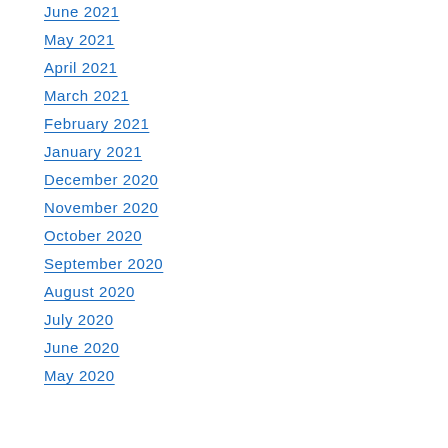June 2021
May 2021
April 2021
March 2021
February 2021
January 2021
December 2020
November 2020
October 2020
September 2020
August 2020
July 2020
June 2020
May 2020